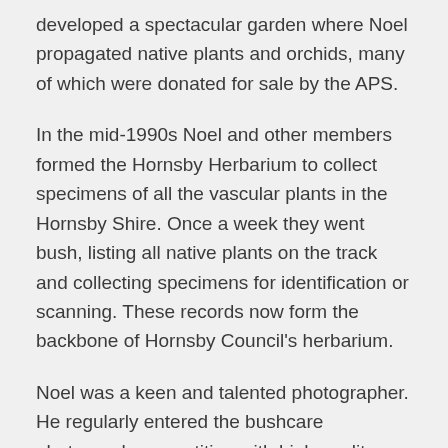developed a spectacular garden where Noel propagated native plants and orchids, many of which were donated for sale by the APS.
In the mid-1990s Noel and other members formed the Hornsby Herbarium to collect specimens of all the vascular plants in the Hornsby Shire. Once a week they went bush, listing all native plants on the track and collecting specimens for identification or scanning. These records now form the backbone of Hornsby Council's herbarium.
Noel was a keen and talented photographer. He regularly entered the bushcare photograph competition with high quality photographs, many of which have been used in the bushcare